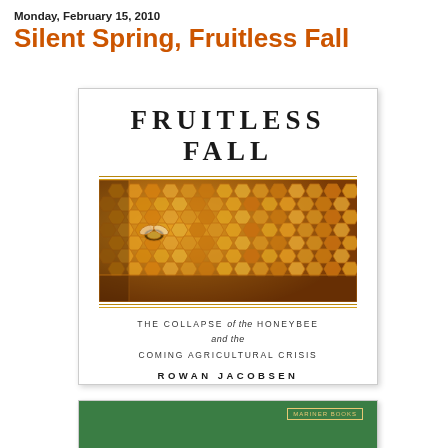Monday, February 15, 2010
Silent Spring, Fruitless Fall
[Figure (illustration): Book cover of 'Fruitless Fall: The Collapse of the Honeybee and the Coming Agricultural Crisis' by Rowan Jacobsen. The cover shows the title in large serif letters at the top, a close-up photograph of a honeycomb with a bee in the center section, subtitle text below, and the author's name at the bottom.]
[Figure (illustration): Partial view of a second book cover with a green background and a gold/yellow publisher badge in the upper right corner.]